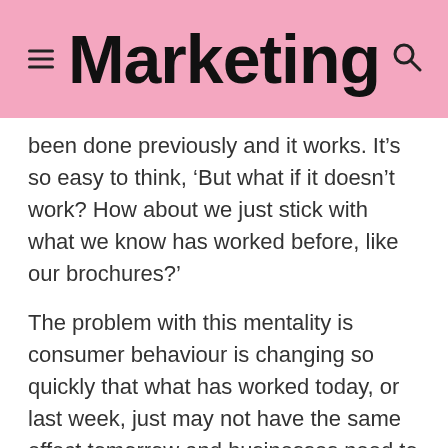Marketing
been done previously and it works. It’s so easy to think, ‘But what if it doesn’t work? How about we just stick with what we know has worked before, like our brochures?’
The problem with this mentality is consumer behaviour is changing so quickly that what has worked today, or last week, just may not have the same effect tomorrow and businesses need to keep up with these behaviours or risk being left behind.
There have been numerous reports created that show the high increase of ROI in mobile. It works, but you need to give it the attention it needs to create...